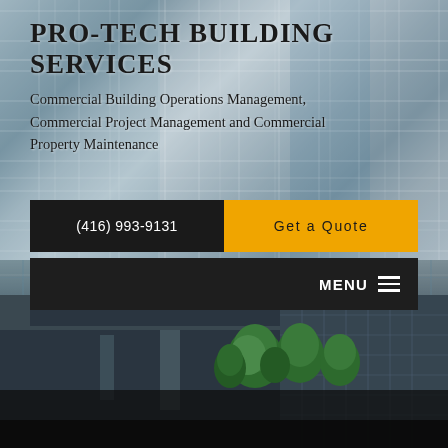PRO-TECH BUILDING SERVICES
Commercial Building Operations Management, Commercial Project Management and Commercial Property Maintenance
(416) 993-9131
Get a Quote
MENU
[Figure (photo): Glass commercial building facade with grid pattern, and modern commercial building exterior with trees in foreground at bottom]